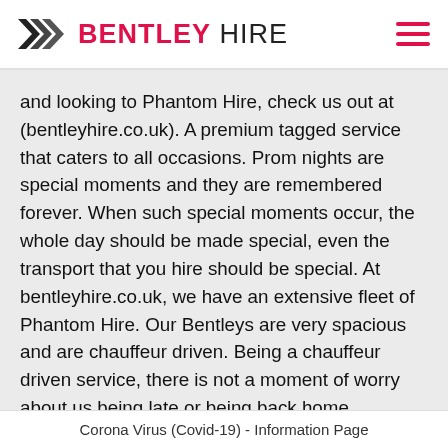BENTLEY HIRE
and looking to Phantom Hire, check us out at (bentleyhire.co.uk). A premium tagged service that caters to all occasions. Prom nights are special moments and they are remembered forever. When such special moments occur, the whole day should be made special, even the transport that you hire should be special. At bentleyhire.co.uk, we have an extensive fleet of Phantom Hire. Our Bentleys are very spacious and are chauffeur driven. Being a chauffeur driven service, there is not a moment of worry about us being late or being back home.
Are your friends accompanying you? Since our cars are extra spacious, there shouldn't be any trouble to
Corona Virus (Covid-19) - Information Page